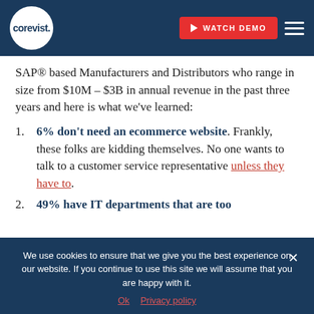corevist. | WATCH DEMO
SAP® based Manufacturers and Distributors who range in size from $10M – $3B in annual revenue in the past three years and here is what we've learned:
6% don't need an ecommerce website. Frankly, these folks are kidding themselves. No one wants to talk to a customer service representative unless they have to.
49% have IT departments that are too
We use cookies to ensure that we give you the best experience on our website. If you continue to use this site we will assume that you are happy with it.
Ok  Privacy policy